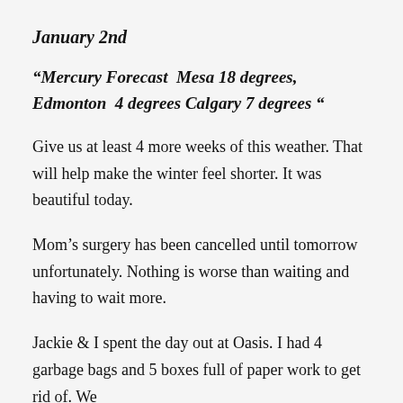January 2nd
“Mercury Forecast  Mesa 18 degrees, Edmonton  4 degrees Calgary 7 degrees “
Give us at least 4 more weeks of this weather. That will help make the winter feel shorter. It was beautiful today.
Mom’s surgery has been cancelled until tomorrow unfortunately. Nothing is worse than waiting and having to wait more.
Jackie & I spent the day out at Oasis. I had 4 garbage bags and 5 boxes full of paper work to get rid of. We